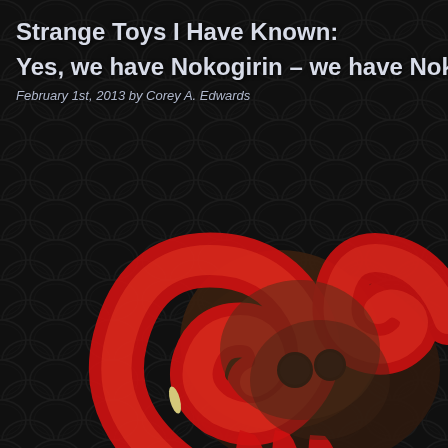[Figure (photo): A dark background with a repeating Japanese seigaiha (overlapping scales/waves) pattern in dark charcoal and black tones, overlaid with a close-up photo of a Japanese kaiju or monster toy figure. The toy has a dark brown/bronze body with dramatic red curved horn-like appendages, red clawed feet, and black eyes. The red parts are glossy and swirling/spiraling in shape.]
Strange Toys I Have Known: Yes, we have Nokogirin – we have Nokogirin t
February 1st, 2013 by Corey A. Edwards